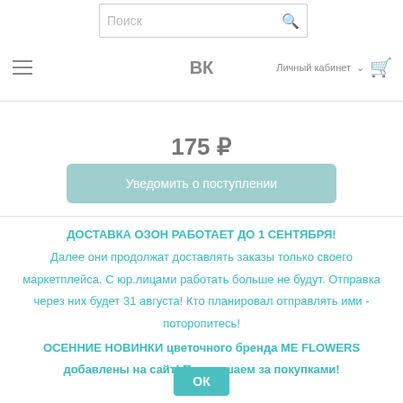Поиск | ВК | Личный кабинет
175 ₽
Уведомить о поступлении
ДОСТАВКА ОЗОН РАБОТАЕТ ДО 1 СЕНТЯБРЯ! Далее они продолжат доставлять заказы только своего маркетплейса. С юр.лицами работать больше не будут. Отправка через них будет 31 августа! Кто планировал отправлять ими - поторопитесь!
ОСЕННИЕ НОВИНКИ цветочного бренда ME FLOWERS добавлены на сайт! Приглашаем за покупками!
ОК